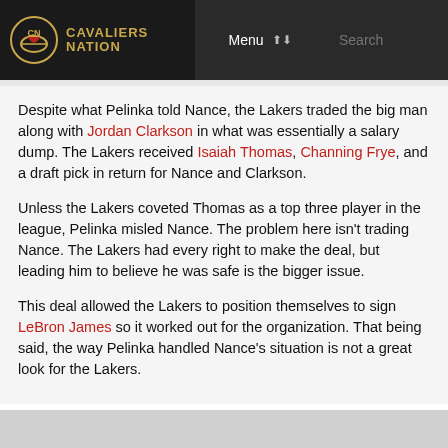Cavaliers Nation | Menu | Search
Despite what Pelinka told Nance, the Lakers traded the big man along with Jordan Clarkson in what was essentially a salary dump. The Lakers received Isaiah Thomas, Channing Frye, and a draft pick in return for Nance and Clarkson.
Unless the Lakers coveted Thomas as a top three player in the league, Pelinka misled Nance. The problem here isn't trading Nance. The Lakers had every right to make the deal, but leading him to believe he was safe is the bigger issue.
This deal allowed the Lakers to position themselves to sign LeBron James so it worked out for the organization. That being said, the way Pelinka handled Nance's situation is not a great look for the Lakers.